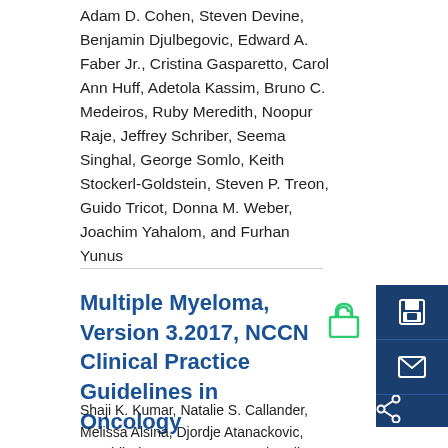Adam D. Cohen, Steven Devine, Benjamin Djulbegovic, Edward A. Faber Jr., Cristina Gasparetto, Carol Ann Huff, Adetola Kassim, Bruno C. Medeiros, Ruby Meredith, Noopur Raje, Jeffrey Schriber, Seema Singhal, George Somlo, Keith Stockerl-Goldstein, Steven P. Treon, Guido Tricot, Donna M. Weber, Joachim Yahalom, and Furhan Yunus
Multiple Myeloma, Version 3.2017, NCCN Clinical Practice Guidelines in Oncology
Shaji K. Kumar, Natalie S. Callander, Melissa Alsina, Djordje Atanackovic, J. Sybil Biermann, Jason C. Chandler, Caitlin Costello, Matthew